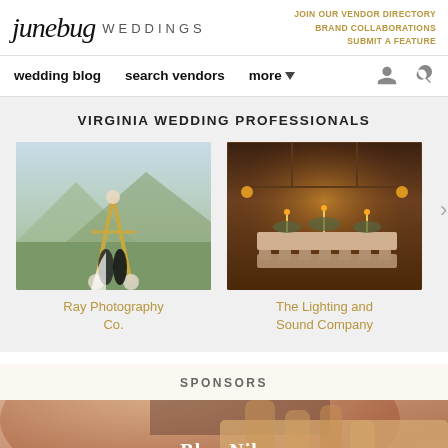junebug WEDDINGS
JOIN OUR VENDOR DIRECTORY
BRAND COLLABORATIONS
SUBMIT A FEATURE
wedding blog   search vendors   more
VIRGINIA WEDDING PROFESSIONALS
[Figure (photo): Wedding couple standing under a golden triangular arch decorated with flowers, outdoors with mountains in background]
Ray Photography Co.
[Figure (photo): Elegant reception hall with long decorated tables, warm amber lighting, and floral centerpieces]
The Lighting and Sound Company
SPONSORS
[Figure (photo): Blue Nile sponsor advertisement showing a close-up of a person's face with Blue Nile text overlay]